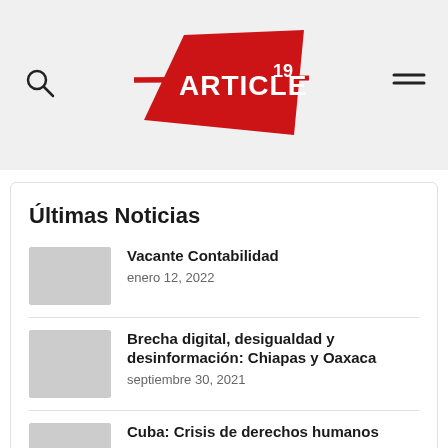[Figure (logo): Article 19 logo — red angular banner shape with white text ARTICLE and superscript 19]
Últimas Noticias
Vacante Contabilidad
enero 12, 2022
Brecha digital, desigualdad y desinformación: Chiapas y Oaxaca
septiembre 30, 2021
Cuba: Crisis de derechos humanos